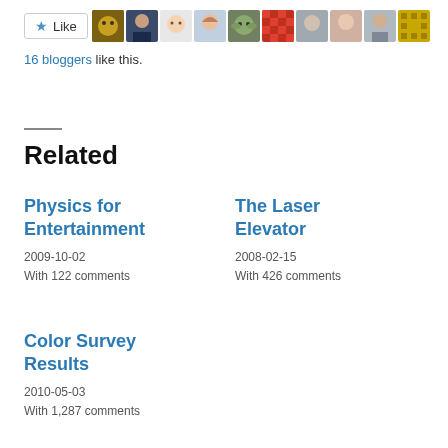[Figure (other): Like button with star icon and a row of 10 blogger avatar thumbnails]
16 bloggers like this.
Related
Physics for Entertainment
2009-10-02
With 122 comments
The Laser Elevator
2008-02-15
With 426 comments
Color Survey Results
2010-05-03
With 1,287 comments